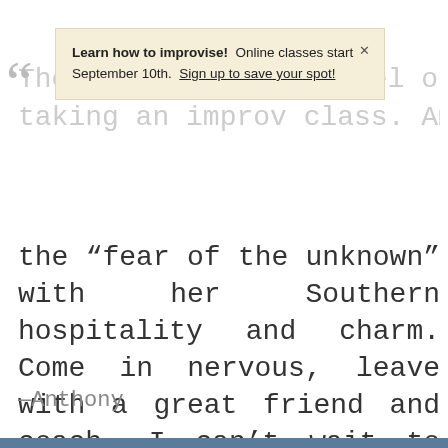[Figure (screenshot): Promotional banner overlay: 'Learn how to improvise! Online classes start September 10th. Sign up to save your spot!' with a close button (x)]
There's a certain level of appreciation when taking an improv class. Amanda gets rid of the "fear of the unknown" with her Southern hospitality and charm. Come in nervous, leave with a great friend and coach. I can't wait to take a class with her in person.
—Anthony